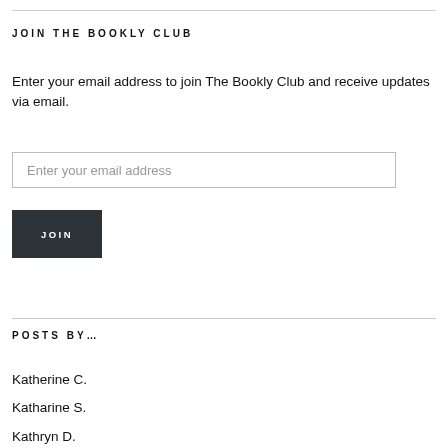JOIN THE BOOKLY CLUB
Enter your email address to join The Bookly Club and receive updates via email.
Enter your email address
JOIN
POSTS BY...
Katherine C.
Katharine S.
Kathryn D.